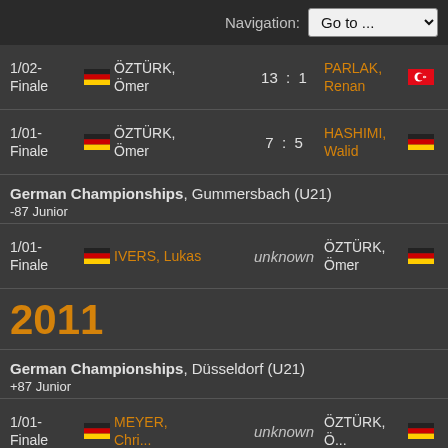Navigation: Go to ...
| Round | Flag | Player | Score | Player2 | Flag2 |
| --- | --- | --- | --- | --- | --- |
| 1/02-Finale | DE | ÖZTÜRK, Ömer | 13 : 1 | PARLAK, Renan | TR |
| 1/01-Finale | DE | ÖZTÜRK, Ömer | 7 : 5 | HASHIMI, Walid | DE |
German Championships, Gummersbach (U21)
-87 Junior
| Round | Flag | Player | Score | Player2 | Flag2 |
| --- | --- | --- | --- | --- | --- |
| 1/01-Finale | DE | IVERS, Lukas | unknown | ÖZTÜRK, Ömer | DE |
2011
German Championships, Düsseldorf (U21)
+87 Junior
| Round | Flag | Player | Score | Player2 | Flag2 |
| --- | --- | --- | --- | --- | --- |
| 1/01-Finale | DE | MEYER, ... | unknown | ÖZTÜRK, Ö... | DE |